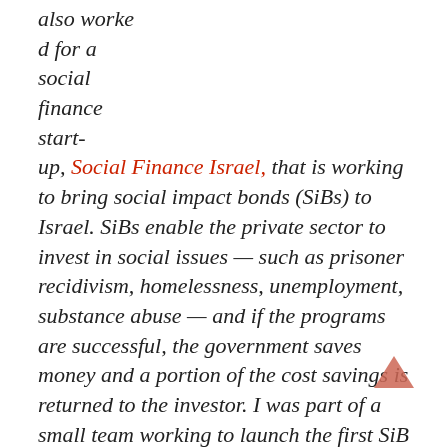also worked for a social finance start-up, Social Finance Israel, that is working to bring social impact bonds (SiBs) to Israel. SiBs enable the private sector to invest in social issues — such as prisoner recidivism, homelessness, unemployment, substance abuse — and if the programs are successful, the government saves money and a portion of the cost savings is returned to the investor. I was part of a small team working to launch the first SiB in Israel and after months of conversations with government, various NGOs and potential investors, the team will launch its first SiB in 2014. The SiB is focused on reducing unemployment in the ultra-orthodox sector.
The following column written by Sara Greenberg appeared in the Times of Israel. For the full story, please visit their Web site.